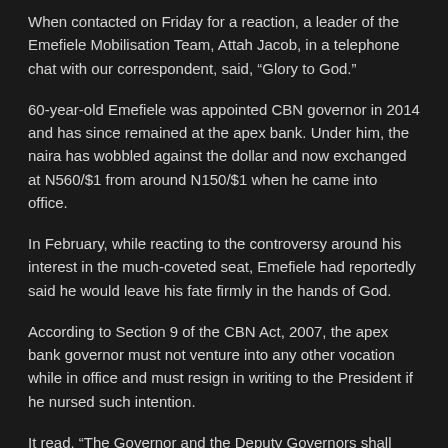When contacted on Friday for a reaction, a leader of the Emefiele Mobilisation Team, Attah Jacob, in a telephone chat with our correspondent, said, “Glory to God.”
60-year-old Emefiele was appointed CBN governor in 2014 and has since remained at the apex bank. Under him, the naira has wobbled against the dollar and now exchanged at N560/$1 from around N150/$1 when he came into office.
In February, while reacting to the controversy around his interest in the much-coveted seat, Emefiele had reportedly said he would leave his fate firmly in the hands of God.
According to Section 9 of the CBN Act, 2007, the apex bank governor must not venture into any other vocation while in office and must resign in writing to the President if he nursed such intention.
It read, “The Governor and the Deputy Governors shall devote the whole of their time to the service of the bank and while holding office shall not engage in any full or part-time employment or vocation whether remunerated or not except such personal or charitable work approved by the Board and which does not conflict…